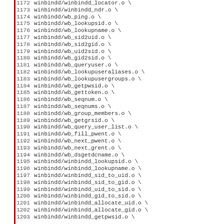1172 winbindd/winbindd_locator.o \
1173 winbindd/winbindd_ndr.o \
1174 winbindd/wb_ping.o \
1175 winbindd/wb_lookupsid.o \
1176 winbindd/wb_lookupname.o \
1177 winbindd/wb_sid2uid.o \
1178 winbindd/wb_sid2gid.o \
1179 winbindd/wb_uid2sid.o \
1180 winbindd/wb_gid2sid.o \
1181 winbindd/wb_queryuser.o \
1182 winbindd/wb_lookupuseraliases.o \
1183 winbindd/wb_lookupusergroups.o \
1184 winbindd/wb_getpwsid.o \
1185 winbindd/wb_gettoken.o \
1186 winbindd/wb_seqnum.o \
1187 winbindd/wb_seqnums.o \
1188 winbindd/wb_group_members.o \
1189 winbindd/wb_getgrsid.o \
1190 winbindd/wb_query_user_list.o \
1191 winbindd/wb_fill_pwent.o \
1192 winbindd/wb_next_pwent.o \
1193 winbindd/wb_next_grent.o \
1194 winbindd/wb_dsgetdcname.o \
1195 winbindd/winbindd_lookupsid.o \
1196 winbindd/winbindd_lookupname.o \
1197 winbindd/winbindd_sid_to_uid.o \
1198 winbindd/winbindd_sid_to_gid.o \
1199 winbindd/winbindd_uid_to_sid.o \
1200 winbindd/winbindd_gid_to_sid.o \
1201 winbindd/winbindd_allocate_uid.o \
1202 winbindd/winbindd_allocate_gid.o \
1203 winbindd/winbindd_getpwsid.o \